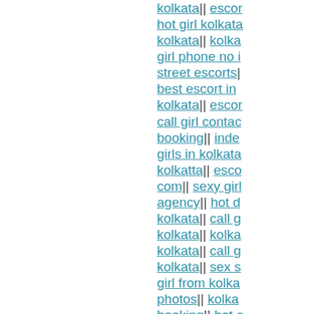kolkata|| escor... hot girl kolkata kolkata|| kolka... girl phone no i... street escorts| best escort in ... kolkata|| escor... call girl contac... booking|| inde... girls in kolkata kolkatta|| esco... com|| sexy girl agency|| hot d... kolkata|| call g... kolkata|| kolka... kolkata|| call g... kolkata|| sex s... girl from kolka... photos|| kolka... booking|| hot e... girl||| escort at ... kolkata+escor... mobile numbe... girl in kolkata|| in kolkata|| low...